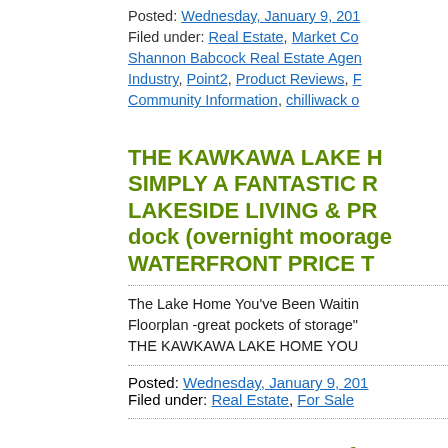Posted: Wednesday, January 9, 201... Filed under: Real Estate, Market Co... Shannon Babcock Real Estate Agen... Industry, Point2, Product Reviews, ... Community Information, chilliwack o...
THE KAWKAWA LAKE H... SIMPLY A FANTASTIC R... LAKESIDE LIVING & PR... dock (overnight moorage... WATERFRONT PRICE T...
The Lake Home You've Been Waitin... Floorplan -great pockets of storage" THE KAWKAWA LAKE HOME YOU...
Posted: Wednesday, January 9, 201... Filed under: Real Estate, For Sale
LESS THAN 90 Days fro... Important Info
LESS THAN 90 days from Scrapping...